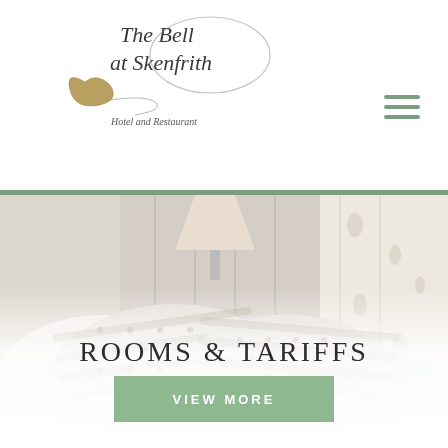[Figure (logo): The Bell at Skenfrith Hotel and Restaurant handwritten logo with decorative swirl and bird motif]
[Figure (other): Hamburger menu icon with three green horizontal lines]
[Figure (photo): Hotel bedroom photo showing decorative pillows with stripe and dot pattern on a bed, with floral curtains in background]
ROOMS & TARIFFS
VIEW MORE